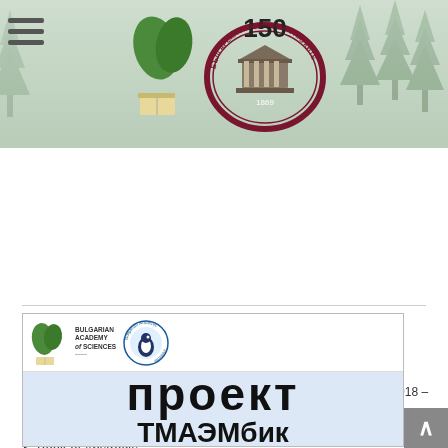International Scientific Conference — Bulgarian Academy of Sciences 150 — header banner
24.10.2018 –
26.10.2018
International Scientific Conference
Book of Abstracts
Proceeding papers
[Figure (illustration): Presentation slide showing logos of Bulgarian Academy of Sciences and Bulgarian Antarctic Institute, with large Cyrillic text 'проект' and partial Cyrillic text below it, on a light blue/grey background]